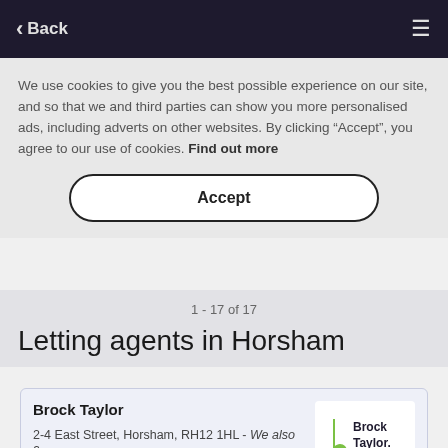< Back
We use cookies to give you the best possible experience on our site, and so that we and third parties can show you more personalised ads, including adverts on other websites. By clicking "Accept", you agree to our use of cookies. Find out more
Accept
1 - 17 of 17
Letting agents in Horsham
Brock Taylor
2-4 East Street, Horsham, RH12 1HL - We also c…
Brock Taylor is a multi-award winning independent estate agency, wi…
[Figure (logo): Brock Taylor logo — stylized green 'b' icon with 'Brock Taylor.' text in dark navy]